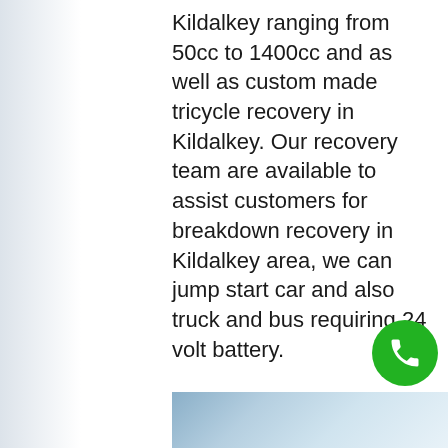Kildalkey ranging from 50cc to 1400cc and as well as custom made tricycle recovery in Kildalkey. Our recovery team are available to assist customers for breakdown recovery in Kildalkey area, we can jump start car and also truck and bus requiring 24 volt battery. We provide fast response time and speedy solutions to your vehicle problems in the most effective and convenient way possible, we offer an accident, breakdown, recovery service from a simple jumpstart or wheel changing service just to get you moving again to full total lift transportation towing service. No matter what your vehicle needs are, you can count on us to be there.
[Figure (photo): Partial photo strip visible at bottom of page showing people and vehicles, partially cut off]